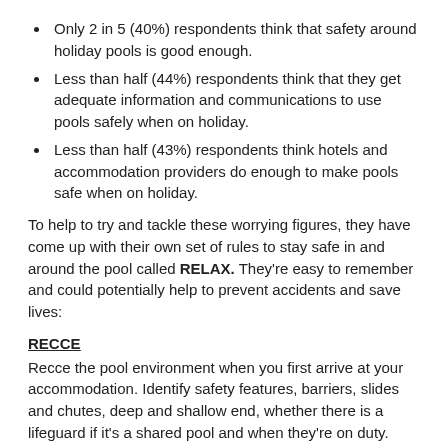Only 2 in 5 (40%) respondents think that safety around holiday pools is good enough.
Less than half (44%) respondents think that they get adequate information and communications to use pools safely when on holiday.
Less than half (43%) respondents think hotels and accommodation providers do enough to make pools safe when on holiday.
To help to try and tackle these worrying figures, they have come up with their own set of rules to stay safe in and around the pool called RELAX. They're easy to remember and could potentially help to prevent accidents and save lives:
RECCE
Recce the pool environment when you first arrive at your accommodation. Identify safety features, barriers, slides and chutes, deep and shallow end, whether there is a lifeguard if it's a shared pool and when they're on duty. Take a moment to enter the local emergency numbers into your phone when you arrive.